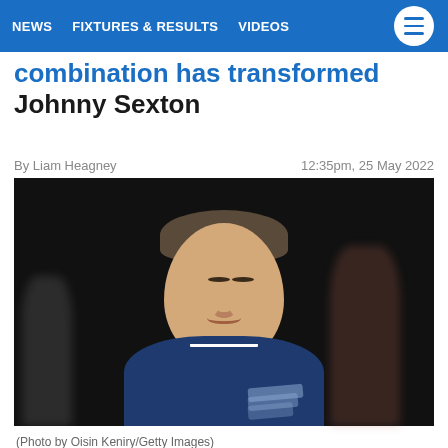NEWS   FIXTURES & RESULTS   VIDEOS
combination has transformed Johnny Sexton
By Liam Heagney
12:35pm, 25 May 2022
[Figure (photo): Close-up photo of Johnny Sexton with eyes closed, wearing a dark navy blue rugby jersey with diagonal stripe pattern, against a dark background. Other blurred figures visible behind him.]
(Photo by Oisin Keniry/Getty Images)